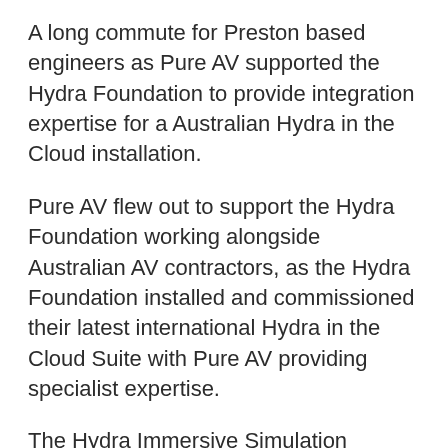A long commute for Preston based engineers as Pure AV supported the Hydra Foundation to provide integration expertise for a Australian Hydra in the Cloud installation.
Pure AV flew out to support the Hydra Foundation working alongside Australian AV contractors, as the Hydra Foundation installed and commissioned their latest international Hydra in the Cloud Suite with Pure AV providing specialist expertise.
The Hydra Immersive Simulation System (Hydra) is a unique immersive learning environment that enables the monitoring of real-time leadership and decision making in critical incidents. The new